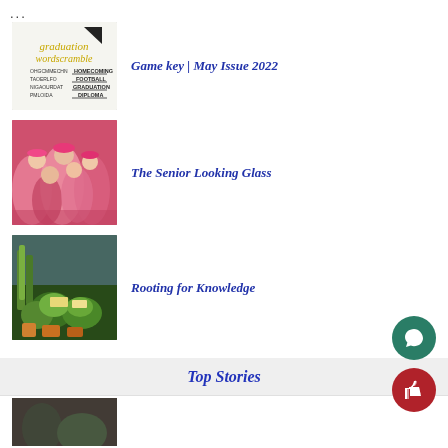...
[Figure (illustration): Graduation word scramble worksheet thumbnail with script text and word list]
Game key | May Issue 2022
[Figure (photo): Group of young women/girls wearing pink at an outdoor event]
The Senior Looking Glass
[Figure (photo): Greenhouse or plant nursery with various green tropical plants]
Rooting for Knowledge
Top Stories
[Figure (photo): Bottom partial thumbnail image]